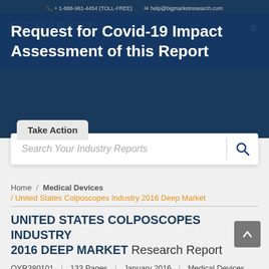+ 1-888-961-4454 (TOLL-FREE)   help@bigmarketresearch.com
Request for Covid-19 Impact Assessment of this Report
Take Action
Search Your Industry Reports
Home / Medical Devices / United States Colposcopes Industry 2016 Deep Market
UNITED STATES COLPOSCOPES INDUSTRY 2016 DEEP MARKET Research Report
QYR380101  |  133 Pages  |  January 2016  |  Medical Devices
DOWNLOAD SAMPLE
GET DISCOUNT